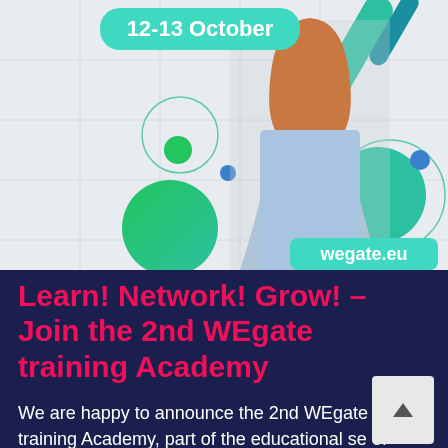[Figure (photo): Promotional banner for 2nd WEgate Training Academy showing a young woman with glasses and long hair wearing a light blue shirt, against a light background with decorative geometric shapes (circles and diagonal stripes in green, teal, and blue). Text overlay reads '12-13 October' and 'wegate.eu'.]
Learn! Network! Grow! – Join the 2nd WEgate training Academy
We are happy to announce the 2nd WEgate training Academy, part of the educational se of WEgate. Taking place on 12th and 13th of